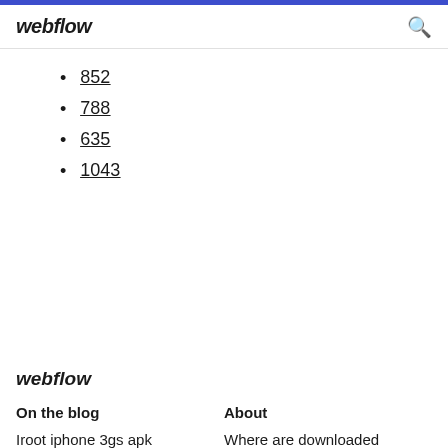webflow
852
788
635
1043
webflow
On the blog
About
Iroot iphone 3gs apk
Where are downloaded